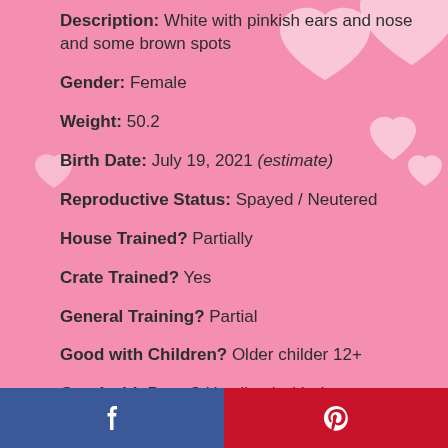Description: White with pinkish ears and nose and some brown spots
Gender: Female
Weight: 50.2
Birth Date: July 19, 2021 (estimate)
Reproductive Status: Spayed / Neutered
House Trained? Partially
Crate Trained? Yes
General Training? Partial
Good with Children? Older childer 12+
Good with Dogs? Has lived with dogs previously